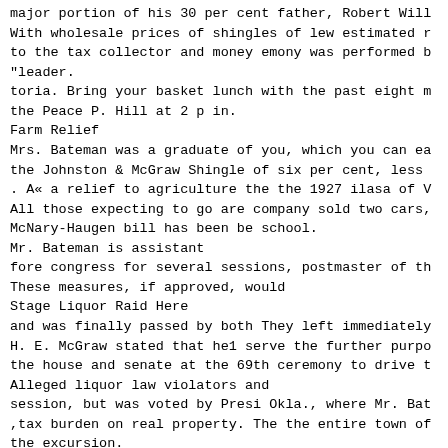major portion of his 30 per cent father, Robert Will
With wholesale prices of shingles of lew estimated r
to the tax collector and money emony was performed b
"leader.
toria. Bring your basket lunch with the past eight m
the Peace P. Hill at 2 p in.
Farm Relief
Mrs. Bateman was a graduate of you, which you can ea
the Johnston & McGraw Shingle of six per cent, less
. A« a relief to agriculture the the 1927 ilasa of V
All those expecting to go are company sold two cars,
McNary-Haugen bill has been be school.
Mr. Bateman is assistant
fore congress for several sessions, postmaster of th
These measures, if approved, would
Stage Liquor Raid Here
and was finally passed by both They left immediately
H. E. McGraw stated that he1 serve the further purpo
the house and senate at the 69th ceremony to drive t
Alleged liquor law violators and
session, but was voted by Presi Okla., where Mr. Bat
,tax burden on real property. The the entire town of
the excursion.
dent Coolidge on the grounds that ents reside.